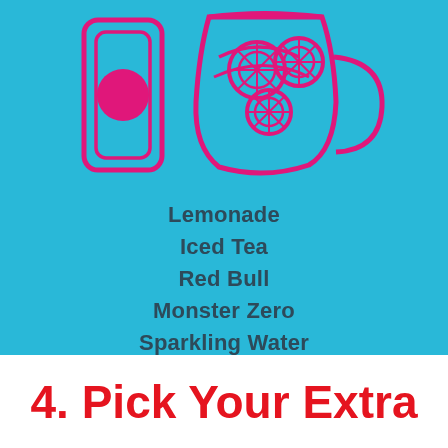[Figure (illustration): Pink/magenta line-art illustration of a drink can with a circle on it and a pitcher/bowl filled with lemon slices, on a teal/cyan background.]
Lemonade
Iced Tea
Red Bull
Monster Zero
Sparkling Water
Water
4. Pick Your Extra